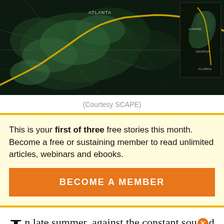[Figure (map): Dark satellite-style map showing a river corridor with a yellow highlighted route/trail, green vegetation areas, and road networks. A smaller inset map on the right shows a regional overview with state boundaries (Alabama, Georgia, Florida area). 'ATLANTA' label visible near the top.]
(Courtesy SCAPE)
This is your first of three free stories this month. Become a free or sustaining member to read unlimited articles, webinars and ebooks.
BECOME A MEMBER
In late summer, against the constant sound of cicadas singing and water rushing, people flock to the Chattahoochee River in Atlanta. People